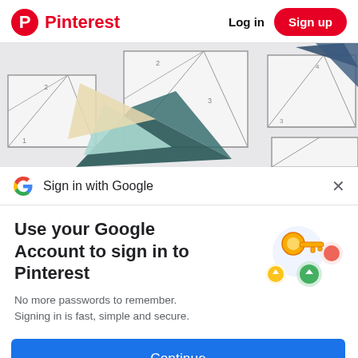Pinterest   Log in   Sign up
[Figure (photo): Quilting paper templates and fabric triangle pieces arranged on a white surface]
Sign in with Google
Use your Google Account to sign in to Pinterest
No more passwords to remember. Signing in is fast, simple and secure.
[Figure (illustration): Google key and lock illustration with colorful circles]
Continue